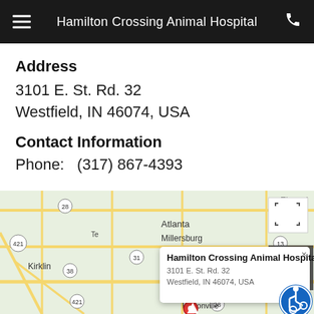Hamilton Crossing Animal Hospital
Address
3101 E. St. Rd. 32
Westfield, IN 46074, USA
Contact Information
Phone:   (317) 867-4393
[Figure (map): Google Maps screenshot showing the area around Westfield, Indiana with a popup marker for Hamilton Crossing Animal Hospital at 3101 E. St. Rd. 32, Westfield, IN 46074, USA. Visible towns include Atlanta, Millersburg, Kirklin, Hortonville, Elwood. Route numbers visible: 28, 421, 38, 31, 13, 37. Map popup shows name and address. UI elements include fullscreen button, scroll-up button, and wheelchair accessibility icon.]